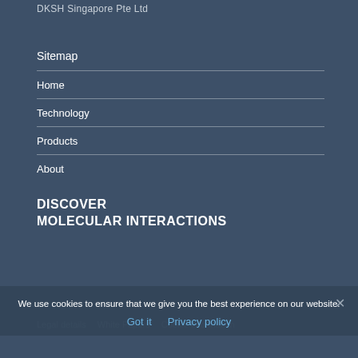DKSH Singapore Pte Ltd
Sitemap
Home
Technology
Products
About
DISCOVER
MOLECULAR INTERACTIONS
We use cookies to ensure that we give you the best experience on our website.
Got it   Privacy policy